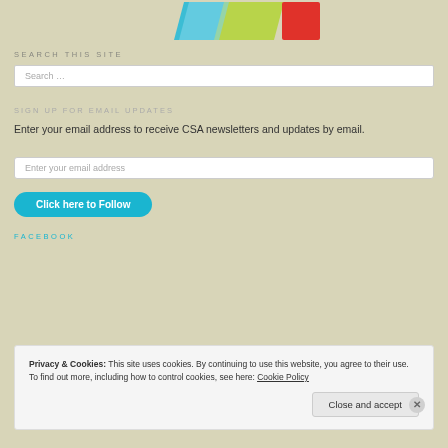[Figure (logo): Colorful abstract logo with blue, yellow-green, and red shapes]
SEARCH THIS SITE
Search …
SIGN UP FOR EMAIL UPDATES
Enter your email address to receive CSA newsletters and updates by email.
Enter your email address
Click here to Follow
FACEBOOK
Privacy & Cookies: This site uses cookies. By continuing to use this website, you agree to their use.
To find out more, including how to control cookies, see here: Cookie Policy
Close and accept